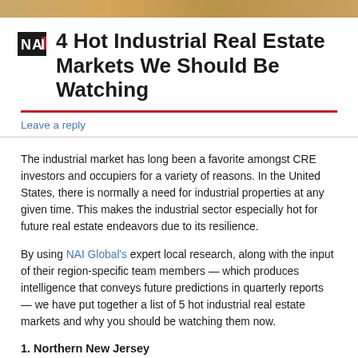[Figure (photo): Top image strip showing a building or real estate scene]
4 Hot Industrial Real Estate Markets We Should Be Watching
Leave a reply
The industrial market has long been a favorite amongst CRE investors and occupiers for a variety of reasons. In the United States, there is normally a need for industrial properties at any given time. This makes the industrial sector especially hot for future real estate endeavors due to its resilience.
By using NAI Global's expert local research, along with the input of their region-specific team members — which produces intelligence that conveys future predictions in quarterly reports — we have put together a list of 5 hot industrial real estate markets and why you should be watching them now.
1. Northern New Jersey
Northern New Jersey has always been a hotbed for industrial activity. New Jersey has the appeal to many investors and major